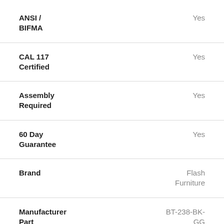| Attribute | Value |
| --- | --- |
| ANSI / BIFMA | Yes |
| CAL 117 Certified | Yes |
| Assembly Required | Yes |
| 60 Day Guarantee | Yes |
| Brand | Flash Furniture |
| Manufacturer Part Number | BT-238-BK-GG |